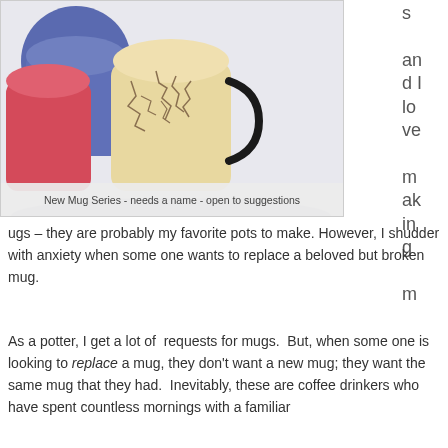[Figure (photo): Photo of colorful ceramic mugs in various colors - pink/red, blue, cream/beige with crackle texture and black handles, arranged together on a light background]
New Mug Series - needs a name - open to suggestions
s and I love making mugs
ugs – they are probably my favorite pots to make. However, I shudder with anxiety when some one wants to replace a beloved but broken mug.
As a potter, I get a lot of  requests for mugs.  But, when some one is looking to replace a mug, they don't want a new mug; they want the same mug that they had.  Inevitably, these are coffee drinkers who have spent countless mornings with a familiar